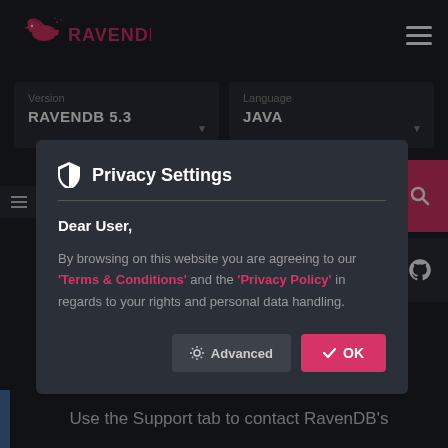[Figure (logo): RavenDB logo — pink/red raven bird icon with RAVENDB text]
Version
RAVENDB 5.3
Language
JAVA
Privacy Settings
Dear User,
By browsing on this website you are agreeing to our 'Terms & Conditions' and the 'Privacy Policy' in regards to your rights and personal data handling.
Advanced
OK
Use the Support tab to contact RavenDB's